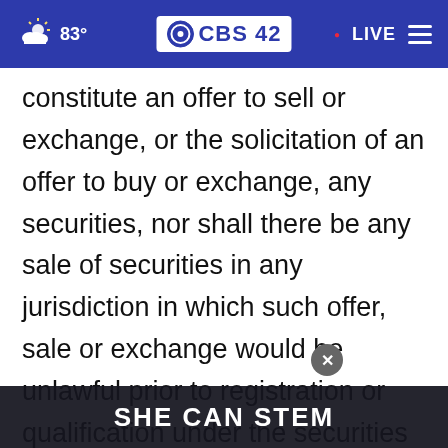CBS 42 — 83° — LIVE
constitute an offer to sell or exchange, or the solicitation of an offer to buy or exchange, any securities, nor shall there be any sale of securities in any jurisdiction in which such offer, sale or exchange would be unlawful prior to registration or qualification under the securities laws of any such jurisdiction. In connection with the Transaction, BAC has publicly filed a registration statement on Form S-4 with the U.S. Secu... "SEC..." which includes a preliminary proxy
[Figure (screenshot): SHE CAN STEM advertisement banner overlay at the bottom of the page with a close (X) button]